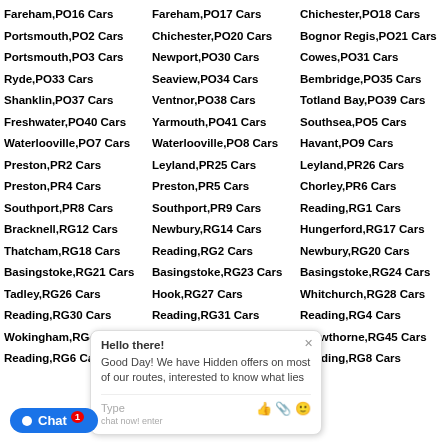Fareham,PO16 Cars
Fareham,PO17 Cars
Chichester,PO18 Cars
Portsmouth,PO2 Cars
Chichester,PO20 Cars
Bognor Regis,PO21 Cars
Portsmouth,PO3 Cars
Newport,PO30 Cars
Cowes,PO31 Cars
Ryde,PO33 Cars
Seaview,PO34 Cars
Bembridge,PO35 Cars
Shanklin,PO37 Cars
Ventnor,PO38 Cars
Totland Bay,PO39 Cars
Freshwater,PO40 Cars
Yarmouth,PO41 Cars
Southsea,PO5 Cars
Waterlooville,PO7 Cars
Waterlooville,PO8 Cars
Havant,PO9 Cars
Preston,PR2 Cars
Leyland,PR25 Cars
Leyland,PR26 Cars
Preston,PR4 Cars
Preston,PR5 Cars
Chorley,PR6 Cars
Southport,PR8 Cars
Southport,PR9 Cars
Reading,RG1 Cars
Bracknell,RG12 Cars
Newbury,RG14 Cars
Hungerford,RG17 Cars
Thatcham,RG18/RG19 Cars
Reading,RG2 Cars
Newbury,RG20 Cars
Basingstoke,RG21/RG22 Cars
Basingstoke,RG23 Cars
Basingstoke,RG24 Cars
Tadley,RG26 Cars
Hook,RG27 Cars
Whitchurch,RG28 Cars
Reading,RG30 Cars
Reading,RG31 Cars
Reading,RG4 Cars
Wokingham,RG41 Cars
Bracknell,RG42 Cars
Crowthorne,RG45 Cars
Reading,RG6 Cars
Reading,RG7 Cars
Reading,RG8 Cars